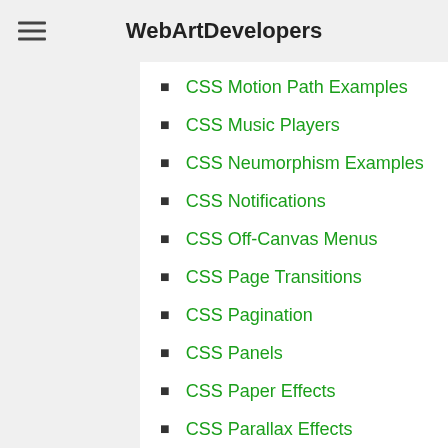WebArtDevelopers
CSS Motion Path Examples
CSS Music Players
CSS Neumorphism Examples
CSS Notifications
CSS Off-Canvas Menus
CSS Page Transitions
CSS Pagination
CSS Panels
CSS Paper Effects
CSS Parallax Effects
CSS Particle Backgrounds
CSS Play/Pause Buttons
CSS Progress Bars
CSS Radio Buttons
CSS Range Sliders